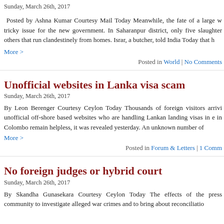Sunday, March 26th, 2017
Posted by Ashna Kumar Courtesy Mail Today Meanwhile, the fate of a large w tricky issue for the new government. In Saharanpur district, only five slaughter others that run clandestinely from homes. Israr, a butcher, told India Today that h
More >
Posted in World | No Comments
Unofficial websites in Lanka visa scam
Sunday, March 26th, 2017
By Leon Berenger Courtesy Ceylon Today Thousands of foreign visitors arrivi unofficial off-shore based websites who are handling Lankan landing visas in e in Colombo remain helpless, it was revealed yesterday. An unknown number of
More >
Posted in Forum & Letters | 1 Comm
No foreign judges or hybrid court
Sunday, March 26th, 2017
By Skandha Gunasekara Courtesy Ceylon Today The effects of the press community to investigate alleged war crimes and to bring about reconciliatio